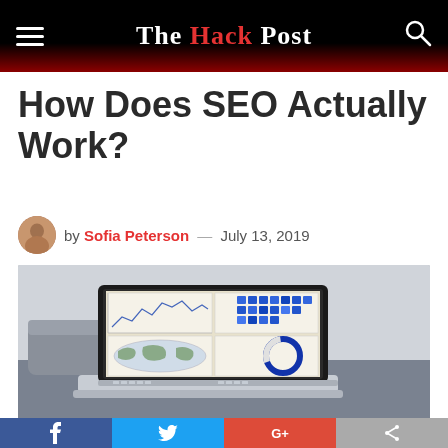The Hack Post
How Does SEO Actually Work?
by Sofia Peterson — July 13, 2019
[Figure (photo): Laptop computer on a desk displaying analytics dashboards with charts, a world map, and a donut chart on the screen.]
Facebook share, Twitter share, Google+ share, Share buttons